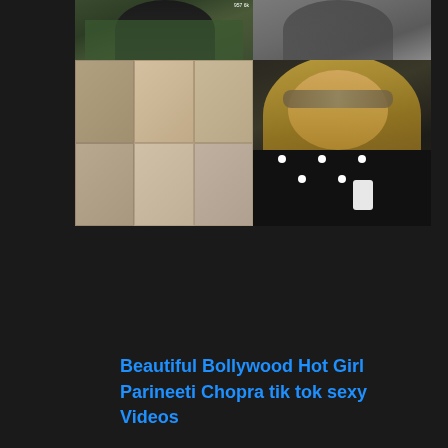[Figure (photo): Grid of photos: top-left shows a woman in a green floral top with dark hair, top-right shows a woman in a gray outfit, bottom-left shows multiple images of decorative heeled sandals and shoes arranged in a 2x3 grid, bottom-right shows a woman with blonde hair and sunglasses wearing a black top with white polka dots, holding a phone]
Beautiful Bollywood Hot Girl Parineeti Chopra tik tok sexy Videos